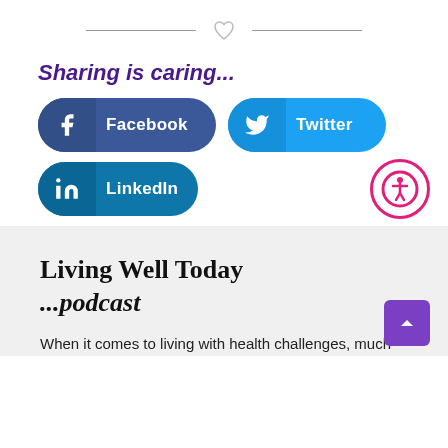[Figure (illustration): Decorative divider with heart icon and horizontal lines on either side]
Sharing is caring...
[Figure (infographic): Three social sharing buttons: Facebook (dark blue), Twitter (light blue), LinkedIn (teal), and an accessibility icon button (pink circle with person icon)]
Living Well Today ...podcast
When it comes to living with health challenges, much